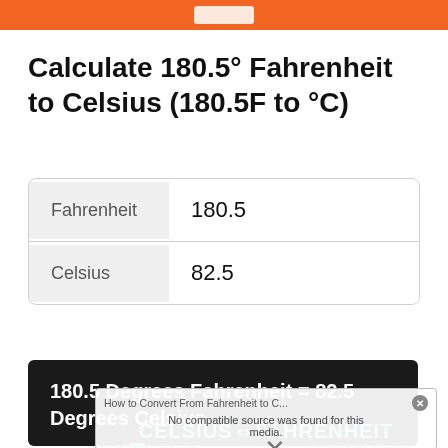[Figure (other): Orange header bar with white button/icon]
Calculate 180.5° Fahrenheit to Celsius (180.5F to °C)
| Label | Value |
| --- | --- |
| Fahrenheit | 180.5 |
| Celsius | 82.5 |
180.5 Degrees Fahrenheit = 82.5 Degrees Celsius
[Figure (screenshot): Popup overlay showing 'How to Convert From Fahrenheit to C...' with 'No compatible source was found for this media.' error message, and a watermark showing CELSIUS ↔ FAHRENHEIT with C→F and F→C conversion options]